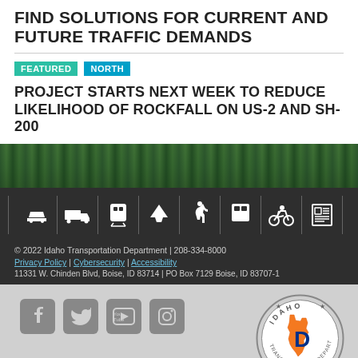FIND SOLUTIONS FOR CURRENT AND FUTURE TRAFFIC DEMANDS
FEATURED | NORTH
PROJECT STARTS NEXT WEEK TO REDUCE LIKELIHOOD OF ROCKFALL ON US-2 AND SH-200
[Figure (photo): Forest/mountainside background strip]
[Figure (infographic): Dark navigation icon bar with transport mode icons: car, truck, train, airplane, pedestrian, bus, bicycle, newspaper/document]
© 2022 Idaho Transportation Department | 208-334-8000
Privacy Policy | Cybersecurity | Accessibility
11331 W. Chinden Blvd, Boise, ID 83714 | PO Box 7129 Boise, ID 83707-1
[Figure (infographic): Social media icons: Facebook, Twitter, YouTube, Instagram; Idaho Transportation Department circular seal/logo on the right]